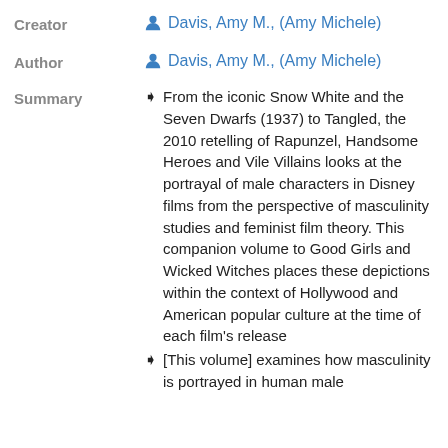Creator
Davis, Amy M., (Amy Michele)
Author
Davis, Amy M., (Amy Michele)
Summary
From the iconic Snow White and the Seven Dwarfs (1937) to Tangled, the 2010 retelling of Rapunzel, Handsome Heroes and Vile Villains looks at the portrayal of male characters in Disney films from the perspective of masculinity studies and feminist film theory. This companion volume to Good Girls and Wicked Witches places these depictions within the context of Hollywood and American popular culture at the time of each film's release
[This volume] examines how masculinity is portrayed in human male